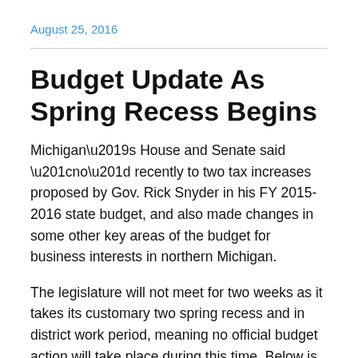August 25, 2016
Budget Update As Spring Recess Begins
Michigan’s House and Senate said “no” recently to two tax increases proposed by Gov. Rick Snyder in his FY 2015-2016 state budget, and also made changes in some other key areas of the budget for business interests in northern Michigan.
The legislature will not meet for two weeks as it takes its customary two spring recess and in district work period, meaning no official budget action will take place during this time. Below is an update on a few the budget areas being